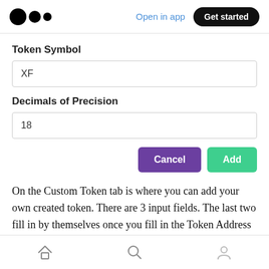[Figure (screenshot): Medium.com navigation bar with logo (three dots), 'Open in app' link in blue, and 'Get started' black pill button]
Token Symbol
XF
Decimals of Precision
18
Cancel   Add
On the Custom Token tab is where you can add your own created token. There are 3 input fields. The last two fill in by themselves once you fill in the Token Address input text field. So the first
[Figure (screenshot): Mobile bottom navigation bar with home, search, and profile icons]